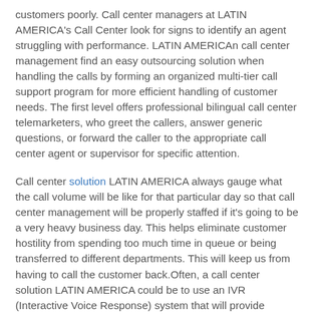customers poorly. Call center managers at LATIN AMERICA's Call Center look for signs to identify an agent struggling with performance. LATIN AMERICAn call center management find an easy outsourcing solution when handling the calls by forming an organized multi-tier call support program for more efficient handling of customer needs. The first level offers professional bilingual call center telemarketers, who greet the callers, answer generic questions, or forward the caller to the appropriate call center agent or supervisor for specific attention.
Call center solution LATIN AMERICA always gauge what the call volume will be like for that particular day so that call center management will be properly staffed if it's going to be a very heavy business day. This helps eliminate customer hostility from spending too much time in queue or being transferred to different departments. This will keep us from having to call the customer back.Often, a call center solution LATIN AMERICA could be to use an IVR (Interactive Voice Response) system that will provide recorded general directory information and options for the inbound or outbound call. If a caller requires more assistance, the call is